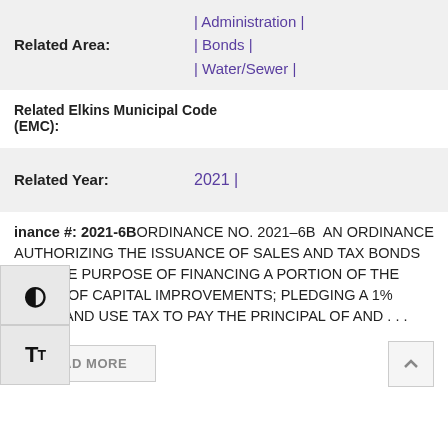Related Area: | Administration | | Bonds | | Water/Sewer |
Related Elkins Municipal Code (EMC):
Related Year: 2021 |
Ordinance #: 2021-6B ORDINANCE NO. 2021–6B AN ORDINANCE AUTHORIZING THE ISSUANCE OF SALES AND TAX BONDS FOR THE PURPOSE OF FINANCING A PORTION OF THE COSTS OF CAPITAL IMPROVEMENTS; PLEDGING A 1% SALES AND USE TAX TO PAY THE PRINCIPAL OF AND ...
READ MORE